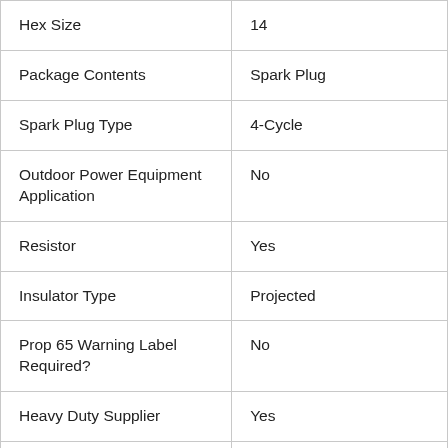| Attribute | Value |
| --- | --- |
| Hex Size | 14 |
| Package Contents | Spark Plug |
| Spark Plug Type | 4-Cycle |
| Outdoor Power Equipment Application | No |
| Resistor | Yes |
| Insulator Type | Projected |
| Prop 65 Warning Label Required? | No |
| Heavy Duty Supplier | Yes |
| Cases Per Pallet (ORLY) | 75 |